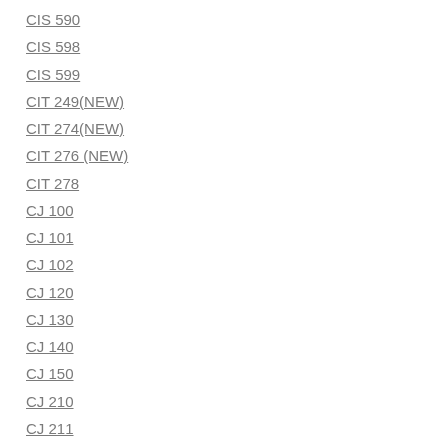CIS 590
CIS 598
CIS 599
CIT 249(NEW)
CIT 274(NEW)
CIT 276 (NEW)
CIT 278
CJ 100
CJ 101
CJ 102
CJ 120
CJ 130
CJ 140
CJ 150
CJ 210
CJ 211
CJ 212
CJ 216
CJ 227